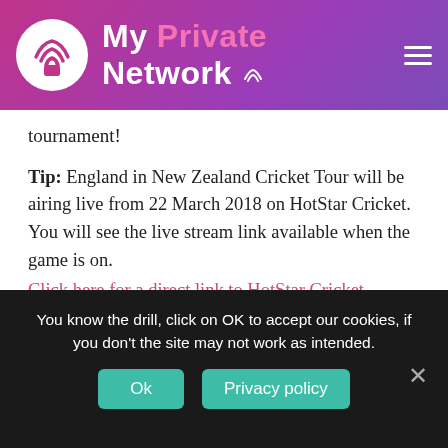My Private Network
tournament!
Tip: England in New Zealand Cricket Tour will be airing live from 22 March 2018 on HotStar Cricket. You will see the live stream link available when the game is on.
Click here for a direct link to HotStar Cricket.
Stream 2017-18 England in New Zealand Cricket Tour on SuperSport
You know the drill, click on OK to accept our cookies, if you don't the site may not work as intended.